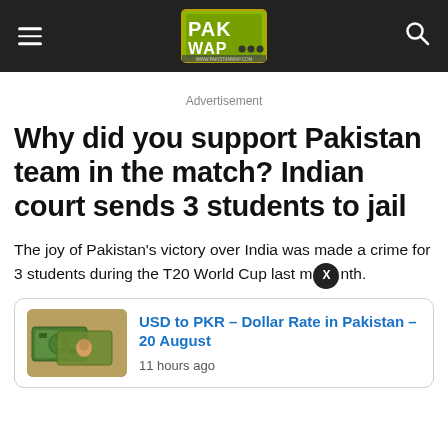PAKWAP (logo) — navigation header
Advertisement
Why did you support Pakistan team in the match? Indian court sends 3 students to jail
The joy of Pakistan's victory over India was made a crime for 3 students during the T20 World Cup last month.
USD to PKR – Dollar Rate in Pakistan – 20 August
11 hours ago